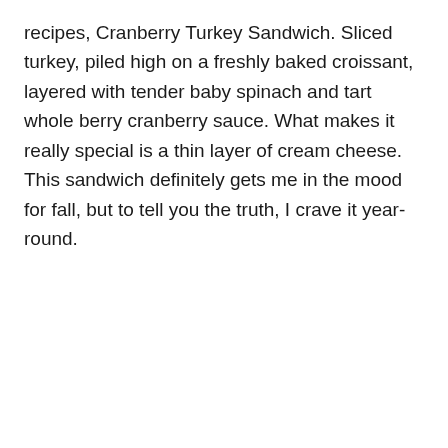recipes, Cranberry Turkey Sandwich. Sliced turkey, piled high on a freshly baked croissant, layered with tender baby spinach and tart whole berry cranberry sauce. What makes it really special is a thin layer of cream cheese. This sandwich definitely gets me in the mood for fall, but to tell you the truth, I crave it year-round.